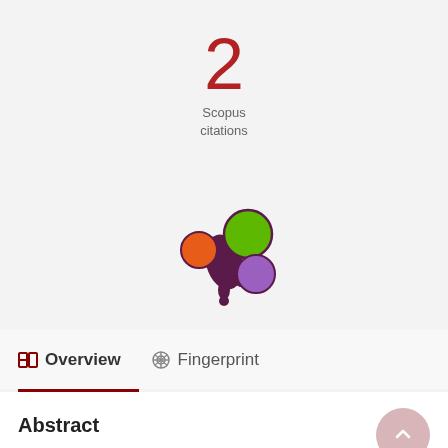2
Scopus
citations
[Figure (logo): Altmetric logo — colorful blob shape with orange, green, and purple circles on dark purple splat]
Overview
Fingerprint
Abstract
This paper describes the use of the interview technique as a valid and reliable instrument for predicting job placement and